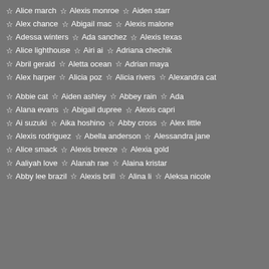Alice march  Alexis monroe  Aiden starr
Alex chance  Abigail mac  Alexis malone
Adessa winters  Ada sanchez  Alexis texas
Alice lighthouse  Airi ai  Adriana chechik
Abril gerald  Aletta ocean  Adrian maya
Alex harper  Alicia poz  Alicia rivers  Alexandra cat
Abbie cat  Aiden ashley  Abbey rain  Ada
Alana evans  Abigail dupree  Alexis capri
Ai suzuki  Aika hoshino  Abby cross  Alex little
Alexis rodriguez  Abella anderson  Alessandra jane
Alice smack  Alexis breeze  Alexia gold
Aaliyah love  Alanah rae  Alaina kristar
Abby lee brazil  Alexis brill  Alina li  Aleksa nicole